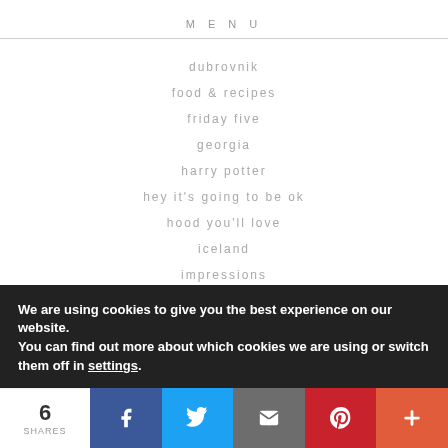MENU
dubrovnik
food & recipes
friday five
georgia
harry potter
hey it's going to be ok
hood you'll love
iceland
impressions
We are using cookies to give you the best experience on our website. You can find out more about which cookies we are using or switch them off in settings.
6 SHARES | Facebook | Twitter | Email | Pinterest | More